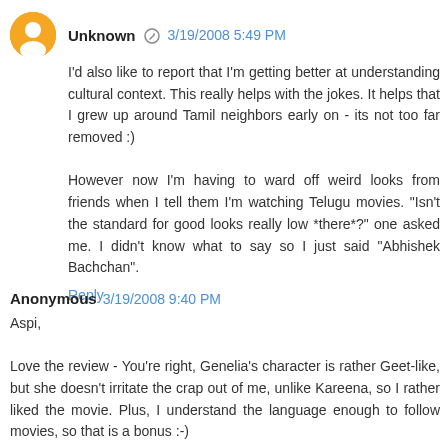Unknown  3/19/2008 5:49 PM
I'd also like to report that I'm getting better at understanding cultural context. This really helps with the jokes. It helps that I grew up around Tamil neighbors early on - its not too far removed :)

However now I'm having to ward off weird looks from friends when I tell them I'm watching Telugu movies. "Isn't the standard for good looks really low *there*?" one asked me. I didn't know what to say so I just said "Abhishek Bachchan".
Reply
Anonymous  3/19/2008 9:40 PM
Aspi,

Love the review - You're right, Genelia's character is rather Geet-like, but she doesn't irritate the crap out of me, unlike Kareena, so I rather liked the movie. Plus, I understand the language enough to follow movies, so that is a bonus :-)